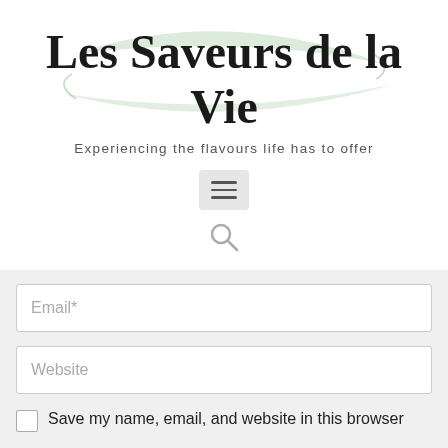Les Saveurs de la Vie
Experiencing the flavours life has to offer
[Figure (screenshot): Hamburger menu button (three horizontal lines) inside a light grey rounded box]
[Figure (screenshot): Search icon (magnifying glass) in grey]
Email*
Website
Save my name, email, and website in this browser